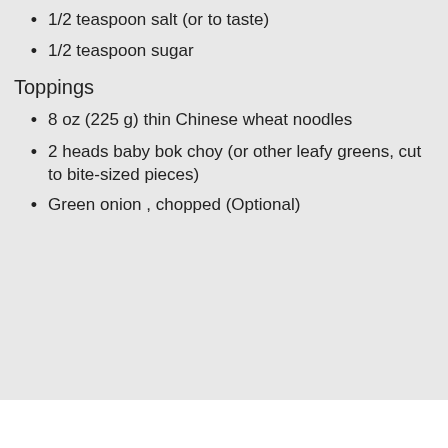1/2 teaspoon salt (or to taste)
1/2 teaspoon sugar
Toppings
8 oz (225 g) thin Chinese wheat noodles
2 heads baby bok choy (or other leafy greens, cut to bite-sized pieces)
Green onion , chopped (Optional)